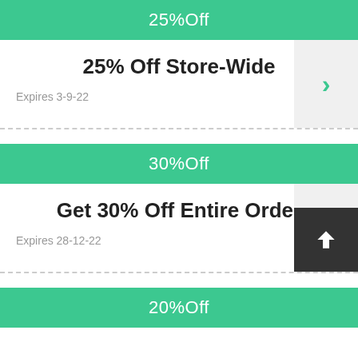25%Off
25% Off Store-Wide
Expires 3-9-22
30%Off
Get 30% Off Entire Order
Expires 28-12-22
20%Off